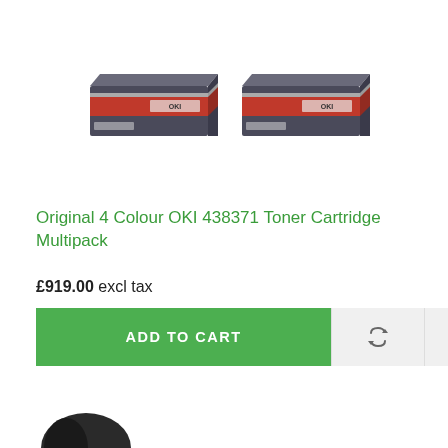[Figure (photo): Two OKI toner cartridge boxes shown side by side. Each is a long rectangular box with a red and grey color scheme.]
Original 4 Colour OKI 438371 Toner Cartridge Multipack
£919.00 excl tax
[Figure (photo): Partial image of a toner cartridge at the bottom of the page, only the top portion visible.]